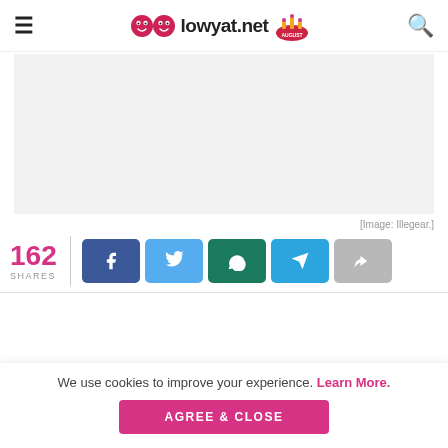lowyat.net
[Figure (other): Gray placeholder advertisement area]
[Image: Illegear.]
162 SHARES
[Figure (other): Social share buttons: Facebook, Twitter, WhatsApp, Telegram, Share]
We use cookies to improve your experience. Learn More. AGREE & CLOSE